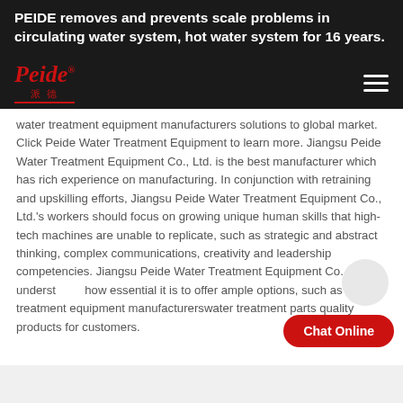PEIDE removes and prevents scale problems in circulating water system, hot water system for 16 years.
[Figure (logo): Peide logo with red italic text and Chinese characters]
water treatment equipment manufacturers solutions to global market. Click Peide Water Treatment Equipment to learn more. Jiangsu Peide Water Treatment Equipment Co., Ltd. is the best manufacturer which has rich experience on manufacturing. In conjunction with retraining and upskilling efforts, Jiangsu Peide Water Treatment Equipment Co., Ltd.'s workers should focus on growing unique human skills that high-tech machines are unable to replicate, such as strategic and abstract thinking, complex communications, creativity and leadership competencies. Jiangsu Peide Water Treatment Equipment Co., Ltd. understands how essential it is to offer ample options, such as water treatment equipment manufacturerswater treatment parts quality products for customers.